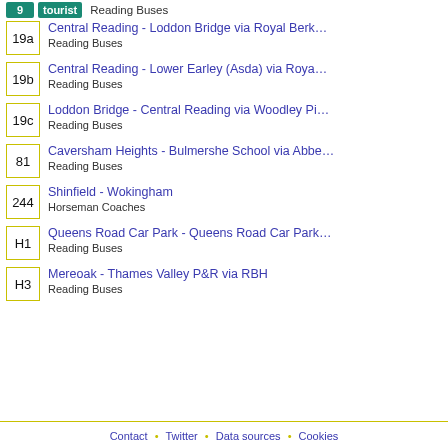Reading Buses (route 9 / tourist)
19a - Central Reading - Loddon Bridge via Royal Berk... — Reading Buses
19b - Central Reading - Lower Earley (Asda) via Roya... — Reading Buses
19c - Loddon Bridge - Central Reading via Woodley Pi... — Reading Buses
81 - Caversham Heights - Bulmershe School via Abbe... — Reading Buses
244 - Shinfield - Wokingham — Horseman Coaches
H1 - Queens Road Car Park - Queens Road Car Park... — Reading Buses
H3 - Mereoak - Thames Valley P&R via RBH — Reading Buses
Contact · Twitter · Data sources · Cookies